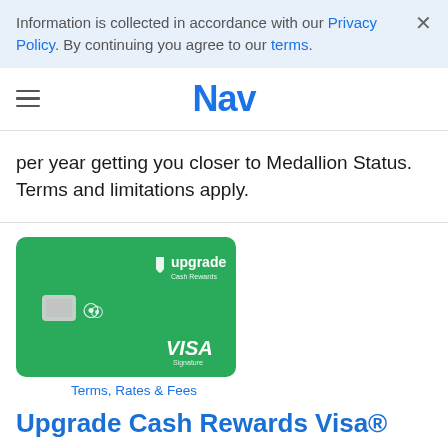Information is collected in accordance with our Privacy Policy. By continuing you agree to our terms.
Nav
per year getting you closer to Medallion Status. Terms and limitations apply.
[Figure (illustration): Upgrade Cash Rewards Visa Signature credit card, green background with chip and contactless payment icons and VISA Signature branding]
Terms, Rates & Fees
Upgrade Cash Rewards Visa®